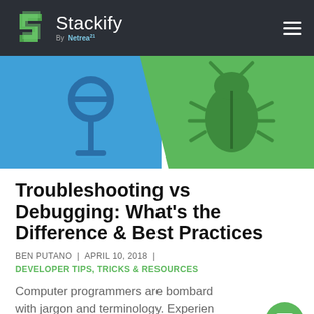Stackify By Netreo
[Figure (illustration): Hero banner image split into two halves: left side blue with a dark blue microphone/pin icon, right side green with a dark green beetle/bug icon]
Troubleshooting vs Debugging: What's the Difference & Best Practices
BEN PUTANO | APRIL 10, 2018 |
DEVELOPER TIPS, TRICKS & RESOURCES
Computer programmers are bombarded with jargon and terminology. Experienced programmers have learned how to work